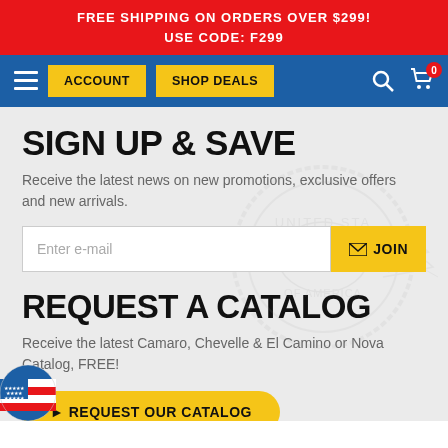FREE SHIPPING ON ORDERS OVER $299!
USE CODE: F299
[Figure (screenshot): Navigation bar with hamburger menu, ACCOUNT and SHOP DEALS yellow buttons, search icon, and cart icon with badge showing 0]
SIGN UP & SAVE
Receive the latest news on new promotions, exclusive offers and new arrivals.
Enter e-mail [JOIN button]
REQUEST A CATALOG
Receive the latest Camaro, Chevelle & El Camino or Nova Catalog, FREE!
> REQUEST OUR CATALOG